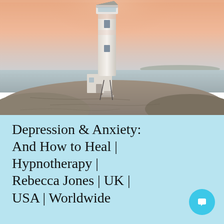[Figure (photo): A white lighthouse on rocky terrain at sunset/dusk with a pink-orange sky and calm water in the background.]
Depression & Anxiety: And How to Heal | Hypnotherapy | Rebecca Jones | UK | USA | Worldwide